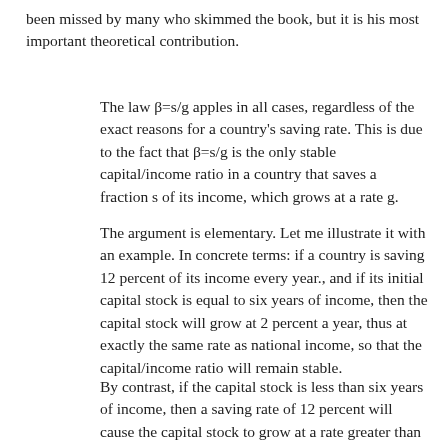been missed by many who skimmed the book, but it is his most important theoretical contribution.
The law β=s/g apples in all cases, regardless of the exact reasons for a country's saving rate. This is due to the fact that β=s/g is the only stable capital/income ratio in a country that saves a fraction s of its income, which grows at a rate g.
The argument is elementary. Let me illustrate it with an example. In concrete terms: if a country is saving 12 percent of its income every year., and if its initial capital stock is equal to six years of income, then the capital stock will grow at 2 percent a year, thus at exactly the same rate as national income, so that the capital/income ratio will remain stable.
By contrast, if the capital stock is less than six years of income, then a saving rate of 12 percent will cause the capital stock to grow at a rate greater than 2 percent a year and therefore faster